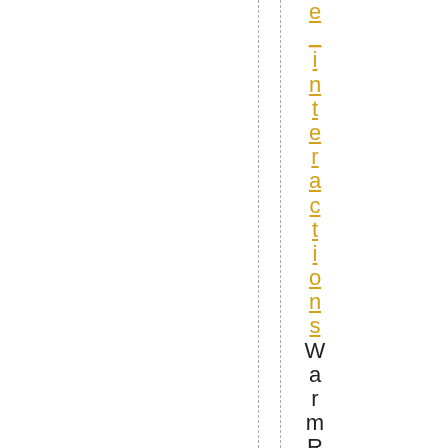e_interactions Warm Regards, A. R.